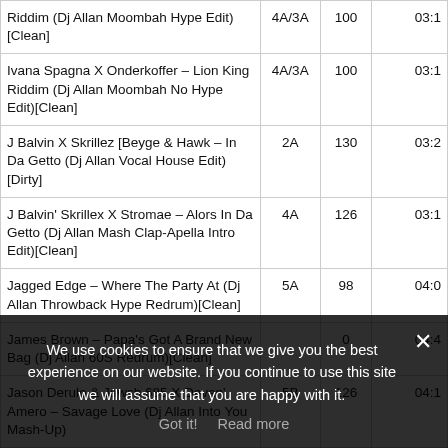| Title | Key | BPM | Time |
| --- | --- | --- | --- |
| Riddim (Dj Allan Moombah Hype Edit)[Clean] | 4A/3A | 100 | 03:1 |
| Ivana Spagna X Onderkoffer – Lion King Riddim (Dj Allan Moombah No Hype Edit)[Clean] | 4A/3A | 100 | 03:1 |
| J Balvin X Skrillez [Beyge & Hawk – In Da Getto (Dj Allan Vocal House Edit)[Dirty] | 2A | 130 | 03:2 |
| J Balvin' Skrillex X Stromae – Alors In Da Getto (Dj Allan Mash Clap-Apella Intro Edit)[Clean] | 4A | 126 | 03:1 |
| Jagged Edge – Where The Party At (Dj Allan Throwback Hype Redrum)[Clean] | 5A | 98 | 04:0 |
| James Brown – Papa's Got A Brand New Bag (Dj Allan 60S Redrum)[Clean] |  | 0 | 04:4 |
| Jason Derulo & Jawsh 685 X Devan' Amero – Savage Love (Dj Allan Into You Mash-Up) | 5B | 126 | 04:1 |
| Jason Derulo X Cali Swag District Ft. Jawsh 685 … |  |  |  |
| Jason Derulo X Blendelle … Allan Mash (x)[Clean] |  |  |  |
| Jay Sean X Omar – 2012 X Touch (Dj Allan Cautio… |  |  |  |
We use cookies to ensure that we give you the best experience on our website. If you continue to use this site we will assume that you are happy with it.